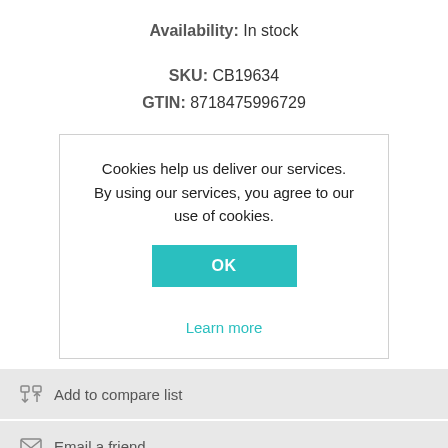Availability: In stock
SKU: CB19634
GTIN: 8718475996729
Cookies help us deliver our services. By using our services, you agree to our use of cookies.
OK
Learn more
Add to compare list
Email a friend